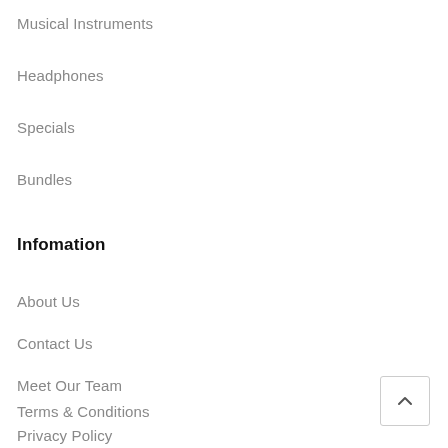Musical Instruments
Headphones
Specials
Bundles
Infomation
About Us
Contact Us
Meet Our Team
Terms & Conditions
Privacy Policy